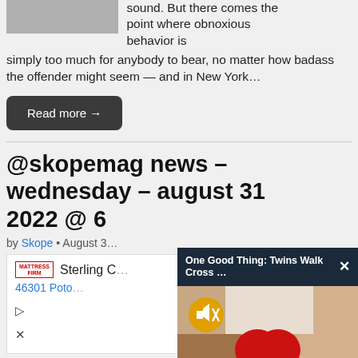[Figure (photo): Partial image of a person in dark clothing, clipped at top]
sound. But there comes the point where obnoxious behavior is simply too much for anybody to bear, no matter how badass the offender might seem — and in New York...
Read more →
@skopemag news – wednesday – august 31 2022 @ 6
by Skope • August 3...
[Figure (photo): Advertisement: Mattress Firm Sterling with address 46301 Pot...]
[Figure (screenshot): Overlay panel: One Good Thing: Twins Walk Cross ... with close button, mute button, and photo of hands holding a red heart]